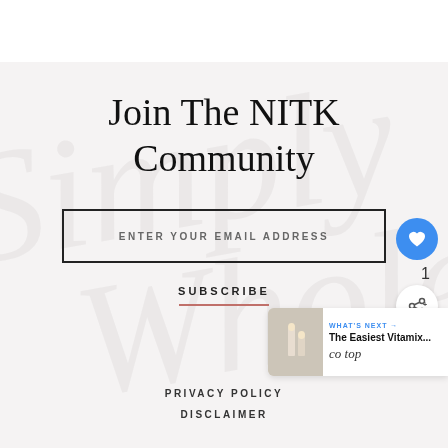Join The NITK Community
ENTER YOUR EMAIL ADDRESS
SUBSCRIBE
PRIVACY POLICY
DISCLAIMER